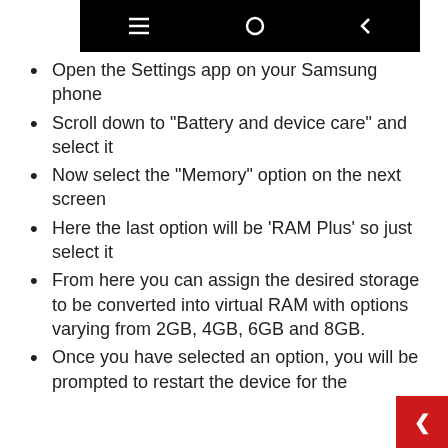[Figure (screenshot): Android navigation bar showing three nav icons (menu, home, back) on black background]
Open the Settings app on your Samsung phone
Scroll down to “Battery and device care” and select it
Now select the “Memory” option on the next screen
Here the last option will be ‘RAM Plus’ so just select it
From here you can assign the desired storage to be converted into virtual RAM with options varying from 2GB, 4GB, 6GB and 8GB.
Once you have selected an option, you will be prompted to restart the device for the